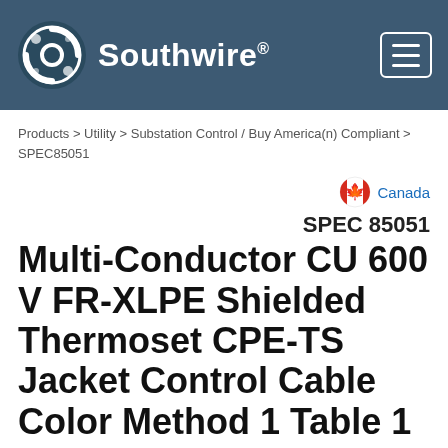Southwire
Products > Utility > Substation Control / Buy America(n) Compliant > SPEC85051
[Figure (illustration): Canadian flag circle icon]
Canada
SPEC 85051
Multi-Conductor CU 600 V FR-XLPE Shielded Thermoset CPE-TS Jacket Control Cable Color Method 1 Table 1
Control Cable 600 Volt Copper Conductors, Flame Retardant Cross Linked Polyethylene (FR-XLPE) Insulation Shielded Thermoset Chlorinated Polyethylene (CPE-TS) Jacket, Control Cable